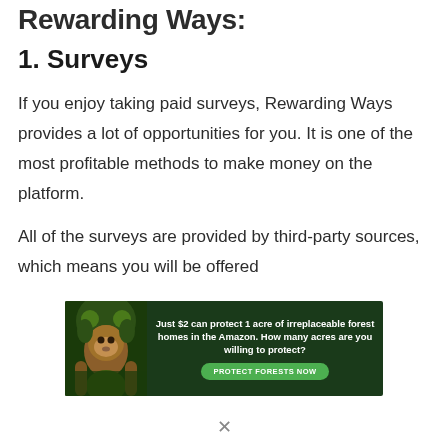Rewarding Ways:
1. Surveys
If you enjoy taking paid surveys, Rewarding Ways provides a lot of opportunities for you. It is one of the most profitable methods to make money on the platform.
All of the surveys are provided by third-party sources, which means you will be offered
[Figure (other): Advertisement banner for Amazon forest conservation. Text reads: Just $2 can protect 1 acre of irreplaceable forest homes in the Amazon. How many acres are you willing to protect? Button: PROTECT FORESTS NOW. Features an image of an orangutan in a forest setting.]